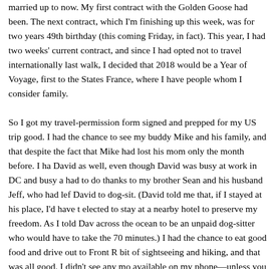married up to now. My first contract with the Golden Goose had been. The next contract, which I'm finishing up this week, was for two years 49th birthday (this coming Friday, in fact). This year, I had two weeks' current contract, and since I had opted not to travel internationally last walk, I decided that 2018 would be a Year of Voyage, first to the States France, where I have people whom I consider family.

So I got my travel-permission form signed and prepped for my US trip good. I had the chance to see my buddy Mike and his family, and that despite the fact that Mike had lost his mom only the month before. I had David as well, even though David was busy at work in DC and busy a had to do thanks to my brother Sean and his husband Jeff, who had lef David to dog-sit. (David told me that, if I stayed at his place, I'd have t elected to stay at a nearby hotel to preserve my freedom. As I told Dav across the ocean to be an unpaid dog-sitter who would have to take the 70 minutes.) I had the chance to eat good food and drive out to Front R bit of sightseeing and hiking, and that was all good. I didn't see any mo available on my phone—unless you count the few times I watched TV